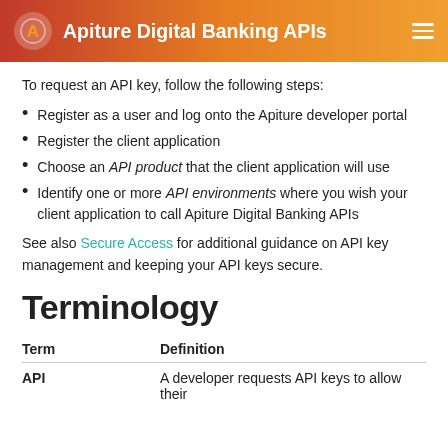Apiture Digital Banking APIs
To request an API key, follow the following steps:
Register as a user and log onto the Apiture developer portal
Register the client application
Choose an API product that the client application will use
Identify one or more API environments where you wish your client application to call Apiture Digital Banking APIs
See also Secure Access for additional guidance on API key management and keeping your API keys secure.
Terminology
| Term | Definition |
| --- | --- |
| API | A developer requests API keys to allow their |